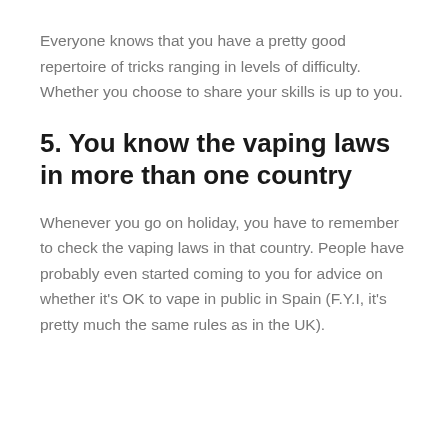Everyone knows that you have a pretty good repertoire of tricks ranging in levels of difficulty. Whether you choose to share your skills is up to you.
5. You know the vaping laws in more than one country
Whenever you go on holiday, you have to remember to check the vaping laws in that country. People have probably even started coming to you for advice on whether it's OK to vape in public in Spain (F.Y.I, it's pretty much the same rules as in the UK).